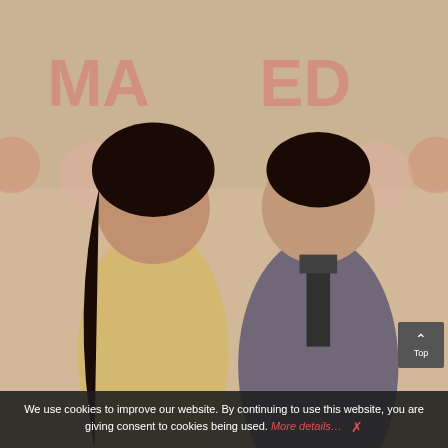[Figure (photo): Top-left partial photo: people in formal/festive attire, partially cropped]
[Figure (photo): Top-right partial photo: people in colorful festive clothing, partially cropped]
[Figure (photo): Middle-left photo: group of five women standing in front of a 'JUST MARRIED' balloon banner]
[Figure (photo): Middle-right photo: young woman in a sparkly outfit, portrait style, stairs in background]
[Figure (photo): Bottom-left photo: couple seated on a sofa, man in blue suit, woman in gold embroidered dress]
[Figure (photo): Bottom-right photo: couple standing in front of 'JUST MARRIED' balloons, man in grey suit, woman in gold dress]
We use cookies to improve our website. By continuing to use this website, you are giving consent to cookies being used. More details…